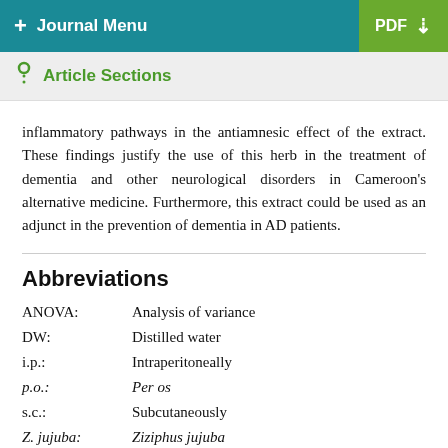+ Journal Menu   PDF ↓
Article Sections
inflammatory pathways in the antiamnesic effect of the extract. These findings justify the use of this herb in the treatment of dementia and other neurological disorders in Cameroon's alternative medicine. Furthermore, this extract could be used as an adjunct in the prevention of dementia in AD patients.
Abbreviations
ANOVA:  Analysis of variance
DW:  Distilled water
i.p.:  Intraperitoneally
p.o.:  Per os
s.c.:  Subcutaneously
Z. jujuba:  Ziziphus jujuba
Gal:  D-galactose